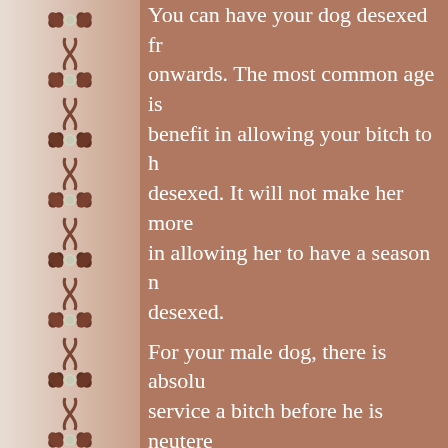You can have your dog desexed from onwards. The most common age is benefit in allowing your bitch to h desexed. It will not make her more in allowing her to have a season n desexed.
For your male dog, there is absolu service a bitch before he is neutere
Pyometra in Dogs
How does pyometra occur? Bacteria from the vagina gain acce is open during oestrus, and colonis (heat, season) when the lining is t hormones. Pyometra is most often non-pregnant bitch.
How is pyometra diagnosed? Sign